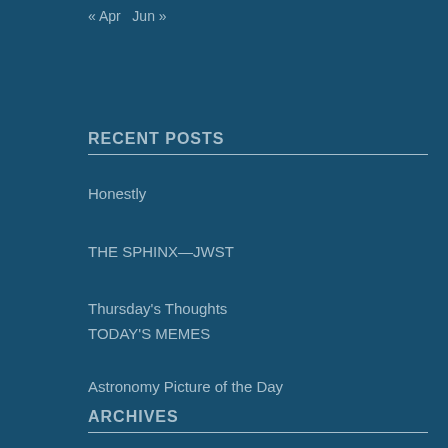« Apr   Jun »
RECENT POSTS
Honestly
THE SPHINX—JWST
Thursday's Thoughts
TODAY'S MEMES
Astronomy Picture of the Day
ARCHIVES